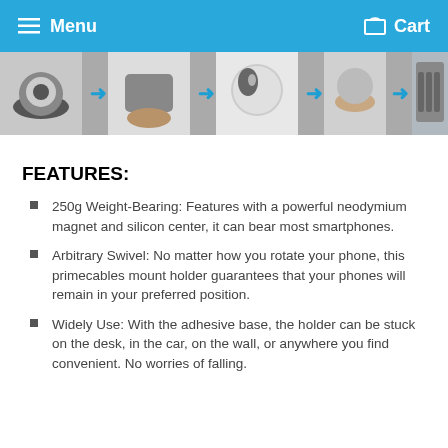Menu   Cart
[Figure (photo): A product installation sequence showing five steps with blue arrows: a magnetic phone mount base, a hand placing a metal plate, the spherical magnet ball, a hand holding the assembly, and the final mount installed in a car vent.]
FEATURES:
250g Weight-Bearing: Features with a powerful neodymium magnet and silicon center, it can bear most smartphones.
Arbitrary Swivel: No matter how you rotate your phone, this primecables mount holder guarantees that your phones will remain in your preferred position.
Widely Use: With the adhesive base, the holder can be stuck on the desk, in the car, on the wall, or anywhere you find convenient. No worries of falling.